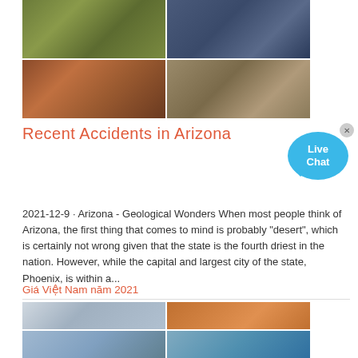[Figure (photo): 2x2 grid of industrial/mining machinery photos at top of page]
Recent Accidents in Arizona
[Figure (illustration): Live Chat bubble icon in blue with text 'Live Chat' and a close X button]
2021-12-9 · Arizona - Geological Wonders When most people think of Arizona, the first thing that comes to mind is probably "desert", which is certainly not wrong given that the state is the fourth driest in the nation. However, while the capital and largest city of the state, Phoenix, is within a...
Giá Việt Nam năm 2021
[Figure (photo): 2x2 grid of industrial/mining machinery photos at bottom of page]